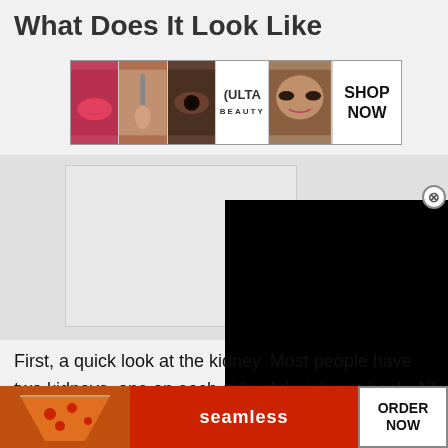What Does It Look Like
[Figure (screenshot): ULTA beauty advertisement banner showing makeup photos (lips, brush, eye, model) with ULTA logo and SHOP NOW button]
[Figure (screenshot): Gray advertisement placeholder area with white/light gray box]
[Figure (screenshot): Black video player overlay box with X close button]
First, a quick look at the kidney. Most people have two kidneys, one on each side of their lower back. All of the blood in your body passes through your kidneys times during it gets filtered ow
[Figure (screenshot): Seamless food delivery advertisement banner at bottom with pizza image, red Seamless logo, and ORDER NOW button. Also shows CLOSE button overlay.]